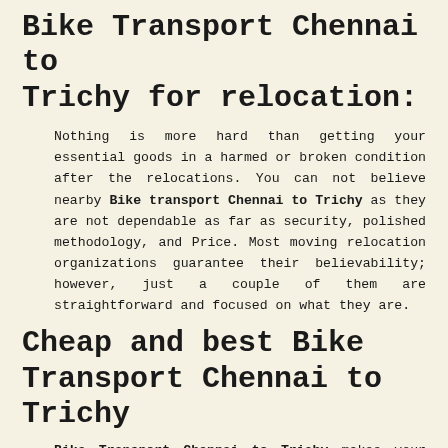Bike Transport Chennai to Trichy for relocation:
Nothing is more hard than getting your essential goods in a harmed or broken condition after the relocations. You can not believe nearby Bike transport Chennai to Trichy as they are not dependable as far as security, polished methodology, and Price. Most moving relocation organizations guarantee their believability; however, just a couple of them are straightforward and focused on what they are.
Cheap and best Bike Transport Chennai to Trichy
Bike Transport Chennai to Trichy makes your shifting needs easy and cheaper by giving convenient packers and movers